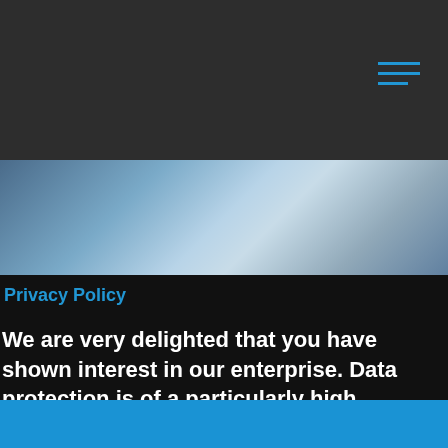[Figure (screenshot): SW STAHL Professional Tools website header with navigation bar, hamburger menu icon in blue, and a sky/clouds background image with the SW STAHL logo in the top right]
Privacy Policy
We are very delighted that you have shown interest in our enterprise. Data protection is of a particularly high
We use technical cookies to ensure that we give you the best experience on our website.
Accept
Privacy policy